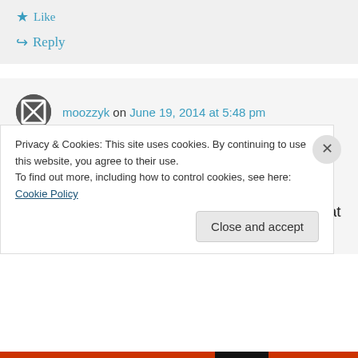★ Like
↪ Reply
moozzyk on June 19, 2014 at 5:48 pm
Hi Angel,

I finally was able to take a look at your changes and they seem reasonable to me. One thing that I am missing are tests. I also
Privacy & Cookies: This site uses cookies. By continuing to use this website, you agree to their use.
To find out more, including how to control cookies, see here: Cookie Policy
Close and accept